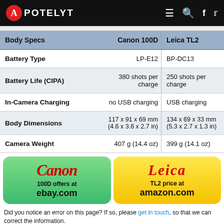APOTELYT
| Body Specs | Canon 100D | Leica TL2 |
| --- | --- | --- |
| Battery Type | LP-E12 | BP-DC13 |
| Battery Life (CIPA) | 380 shots per charge | 250 shots per charge |
| In-Camera Charging | no USB charging | USB charging |
| Body Dimensions | 117 x 91 x 69 mm (4.6 x 3.6 x 2.7 in) | 134 x 69 x 33 mm (5.3 x 2.7 x 1.3 in) |
| Camera Weight | 407 g (14.4 oz) | 399 g (14.1 oz) |
[Figure (infographic): Canon 100D offers at ebay.com promo box (green gradient)]
[Figure (infographic): Leica TL2 price at amazon.com promo box (yellow gradient)]
Did you notice an error on this page? If so, please get in touch, so that we can correct the information.